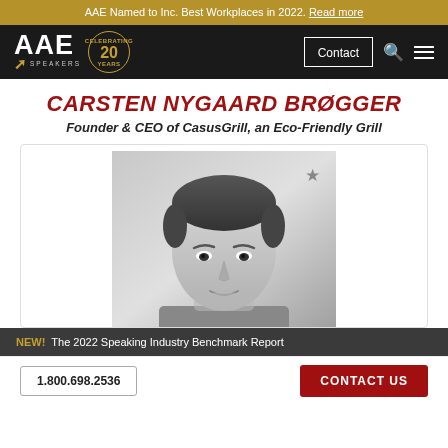AAE Named to Inc. Best Workplaces in 2022. Read more
[Figure (logo): AAE Speakers logo with 20th anniversary badge, nav bar with Contact button, search icon, and hamburger menu]
CARSTEN NYGAARD BRØGGER
Founder & CEO of CasusGrill, an Eco-Friendly Grill
[Figure (photo): Black and white headshot photo of Carsten Nygaard Brøgger, a middle-aged man with short hair and stubble, with a star/bookmark icon in the top right corner]
NEW! The 2022 Speaking Industry Benchmark Report
1.800.698.2536   CONTACT US